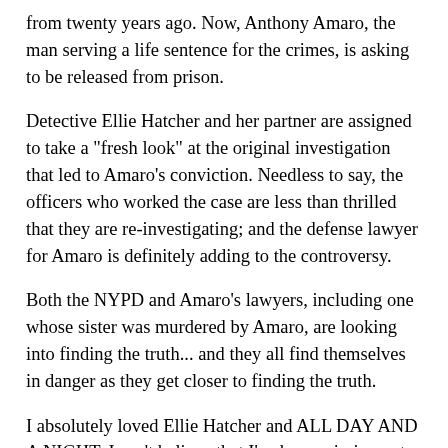from twenty years ago. Now, Anthony Amaro, the man serving a life sentence for the crimes, is asking to be released from prison.
Detective Ellie Hatcher and her partner are assigned to take a "fresh look" at the original investigation that led to Amaro's conviction. Needless to say, the officers who worked the case are less than thrilled that they are re-investigating; and the defense lawyer for Amaro is definitely adding to the controversy.
Both the NYPD and Amaro's lawyers, including one whose sister was murdered by Amaro, are looking into finding the truth... and they all find themselves in danger as they get closer to finding the truth.
I absolutely loved Ellie Hatcher and ALL DAY AND A NIGHT. I can't believe that I've been missing out on this series and this author for so long! What's ironic is that I've read some review of this novel, and evidently it's not even the best one in the series. Needless to say, that makes me very excited to read more of Ms. Burke's novels!